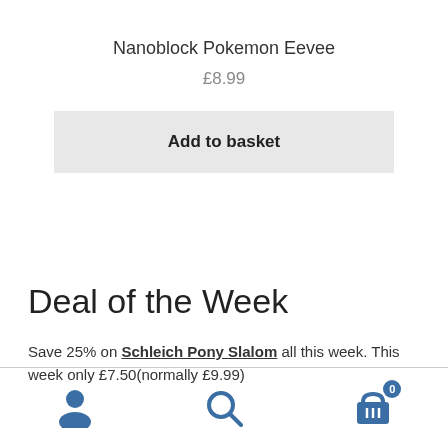Nanoblock Pokemon Eevee
£8.99
Add to basket
Deal of the Week
Save 25% on Schleich Pony Slalom all this week. This week only £7.50(normally £9.99)